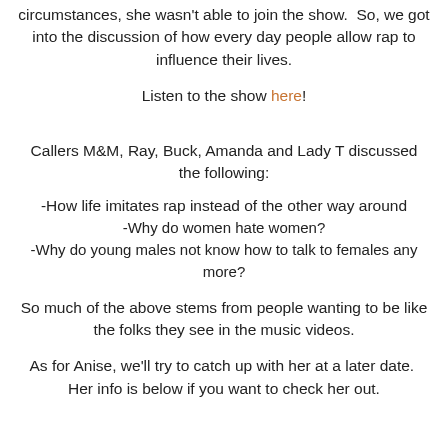circumstances, she wasn't able to join the show.  So, we got into the discussion of how every day people allow rap to influence their lives.
Listen to the show here!
Callers M&M, Ray, Buck, Amanda and Lady T discussed the following:
-How life imitates rap instead of the other way around
-Why do women hate women?
-Why do young males not know how to talk to females any more?
So much of the above stems from people wanting to be like the folks they see in the music videos.
As for Anise, we'll try to catch up with her at a later date.  Her info is below if you want to check her out.